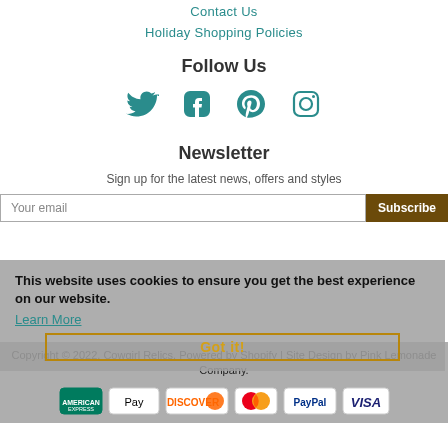Contact Us
Holiday Shopping Policies
Follow Us
[Figure (infographic): Social media icons: Twitter, Facebook, Pinterest, Instagram in teal color]
Newsletter
Sign up for the latest news, offers and styles
Your email / Subscribe button
This website uses cookies to ensure you get the best experience on our website.
Learn More
Got it!
Copyright © 2022, Cowgirl Relics. Powered by Shopify | Site Design by Pink Lemonade Company.
[Figure (infographic): Payment icons: American Express, Apple Pay, Discover, Mastercard, PayPal, Visa]